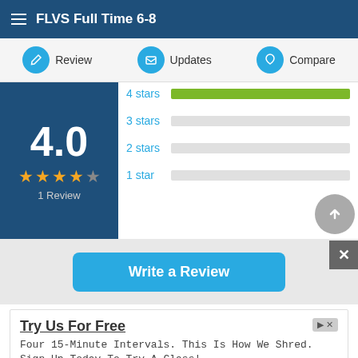FLVS Full Time 6-8
[Figure (screenshot): Navigation bar with Review, Updates, and Compare options with circular icons]
[Figure (bar-chart): Rating breakdown]
4.0
1 Review
Write a Review
Try Us For Free
Four 15-Minute Intervals. This Is How We Shred. Sign Up Today To Try A Class!
Shred415 Sterling
Learn More
ADVERTISEMENT